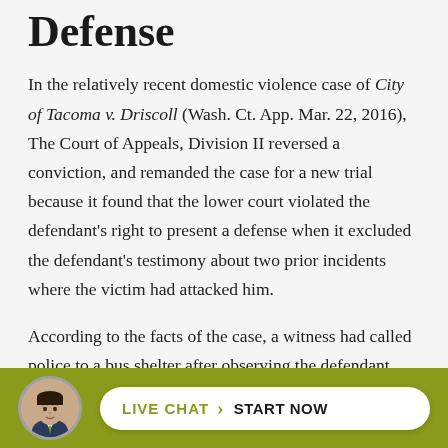Defense
In the relatively recent domestic violence case of City of Tacoma v. Driscoll (Wash. Ct. App. Mar. 22, 2016), The Court of Appeals, Division II reversed a conviction, and remanded the case for a new trial because it found that the lower court violated the defendant's right to present a defense when it excluded the defendant's testimony about two prior incidents where the victim had attacked him.
According to the facts of the case, a witness had called police to a bus shelter after observing the defendant kneeing the alleged victim in the head. The defendant told officers, however, that he was acting in self-defense. The defendant was subsequently charged with one count